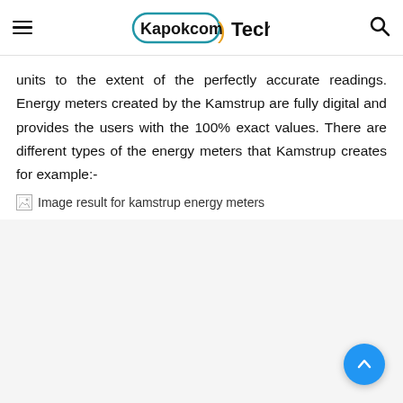Kapokcom Tech
units to the extent of the perfectly accurate readings. Energy meters created by the Kamstrup are fully digital and provides the users with the 100% exact values. There are different types of the energy meters that Kamstrup creates for example:-
[Figure (photo): Broken image placeholder with alt text: Image result for kamstrup energy meters]